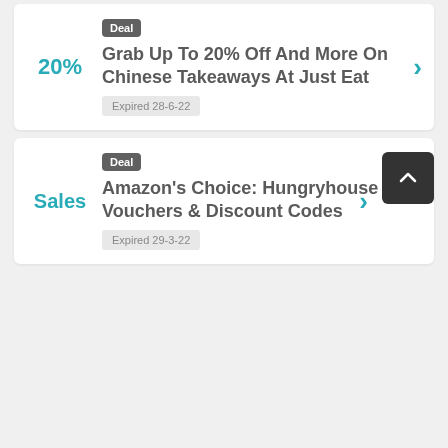[Figure (other): Deal card: 20% off label on left, 'Deal' badge, title 'Grab Up To 20% Off And More On Chinese Takeaways At Just Eat', expired date 28-6-22, chevron arrow right]
[Figure (other): Deal card: 'Sales' label on left, 'Deal' badge, title 'Amazon's Choice: Hungryhouse Vouchers & Discount Codes', expired date 29-3-22, chevron arrow right, scroll-to-top button]